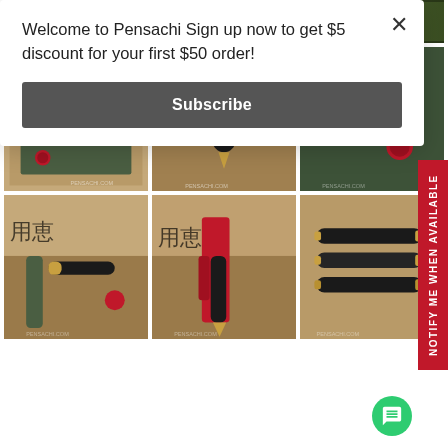Welcome to Pensachi Sign up now to get $5 discount for your first $50 order!
Subscribe
[Figure (photo): Pensachi banner with pen products and logo]
[Figure (photo): Fountain pen in wooden box with green felt, two pens visible]
[Figure (photo): Fountain pen standing upright in wooden box]
[Figure (photo): Close-up of fountain pen nib in wooden box]
[Figure (photo): Pen in green leather roll case in wooden box]
[Figure (photo): Pen wrapped in red cloth in wooden box]
[Figure (photo): Multiple pens with gold nibs on wooden surface]
NOTIFY ME WHEN AVAILABLE